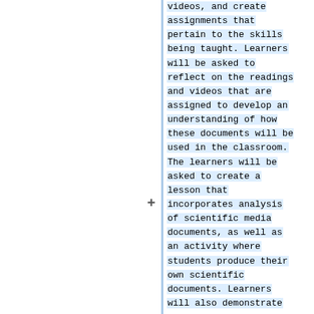videos, and create assignments that pertain to the skills being taught. Learners will be asked to reflect on the readings and videos that are assigned to develop an understanding of how these documents will be used in the classroom. The learners will be asked to create a lesson that incorporates analysis of scientific media documents, as well as an activity where students produce their own scientific documents. Learners will also demonstrate